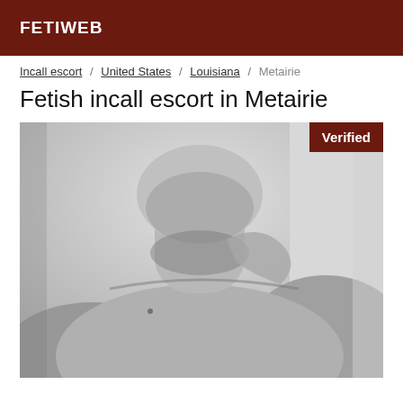FETIWEB
Incall escort / United States / Louisiana / Metairie
Fetish incall escort in Metairie
[Figure (photo): Black and white close-up photograph of a shirtless male person, showing the neck, chin with stubble, and upper chest/shoulder area. A 'Verified' badge is shown in the top-right corner of the image.]